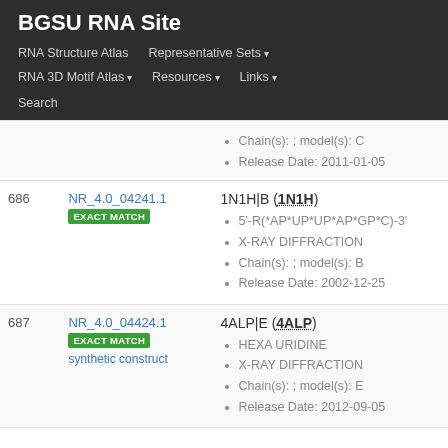BGSU RNA Site
RNA Structure Atlas
Representative Sets
RNA 3D Motif Atlas
Resources
Links
Search
| # | ID | Details |
| --- | --- | --- |
|  |  | Chain(s): ; model(s): C
Release Date: 2011-01-05 |
| 686 | NR_4.0_04241.1
EXACT MATCH | 1N1H|B (1N1H)
5'-R(*AP*UP*UP*AP*GP*C)-3'
X-RAY DIFFRACTION
Chain(s): ; model(s): B
Release Date: 2002-12-25 |
| 687 | NR_4.0_04424.1
EXACT MATCH
synthetic construct | 4ALP|E (4ALP)
HEXA URIDINE
X-RAY DIFFRACTION
Chain(s): ; model(s): E
Release Date: 2012-09-05 |